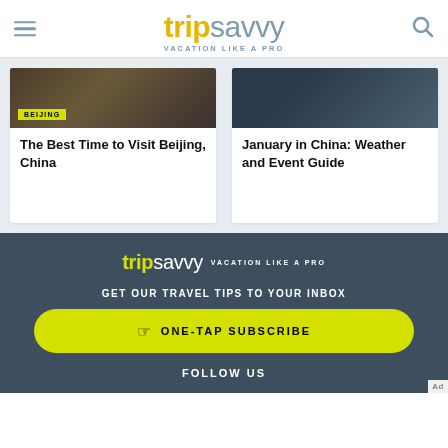tripsavvy VACATION LIKE A PRO
The Best Time to Visit Beijing, China
January in China: Weather and Event Guide
[Figure (logo): TripSavvy logo with tagline VACATION LIKE A PRO on dark background]
GET OUR TRAVEL TIPS TO YOUR INBOX
ONE-TAP SUBSCRIBE
FOLLOW US